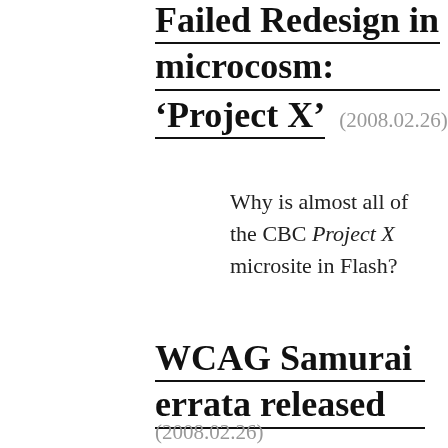Failed Redesign in microcosm: ‘Project X’ (2008.02.26)
Why is almost all of the CBC Project X microsite in Flash?
WCAG Samurai errata released
(2008.02.26)